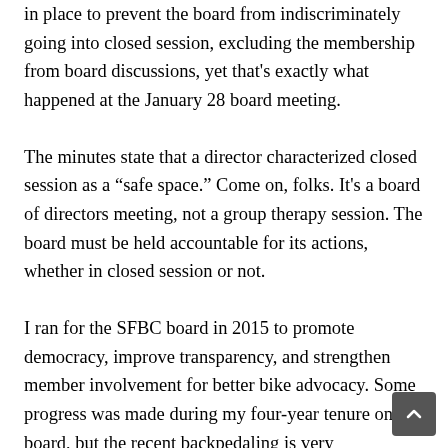in place to prevent the board from indiscriminately going into closed session, excluding the membership from board discussions, yet that's exactly what happened at the January 28 board meeting.
The minutes state that a director characterized closed session as a "safe space." Come on, folks. It's a board of directors meeting, not a group therapy session. The board must be held accountable for its actions, whether in closed session or not.
I ran for the SFBC board in 2015 to promote democracy, improve transparency, and strengthen member involvement for better bike advocacy. Some progress was made during my four-year tenure on the board, but the recent backpedaling is very discouraging.
I would like to publicly thank the many people who contacted me expressing disapproval of the board's majority decision to